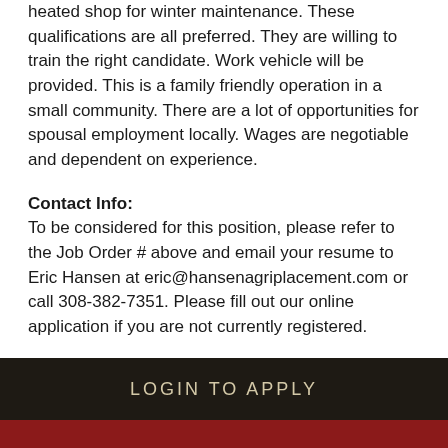Most weekends are off in the winter. There is a heated shop for winter maintenance. These qualifications are all preferred. They are willing to train the right candidate. Work vehicle will be provided. This is a family friendly operation in a small community. There are a lot of opportunities for spousal employment locally. Wages are negotiable and dependent on experience.
Contact Info:
To be considered for this position, please refer to the Job Order # above and email your resume to Eric Hansen at eric@hansenagriplacement.com or call 308-382-7351. Please fill out our online application if you are not currently registered.
LOGIN TO APPLY